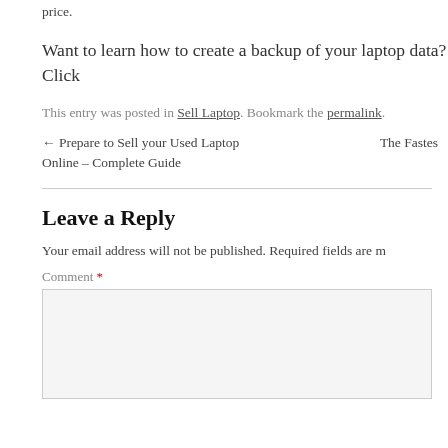price.
Want to learn how to create a backup of your laptop data? Click
This entry was posted in Sell Laptop. Bookmark the permalink.
← Prepare to Sell your Used Laptop Online – Complete Guide
The Fastes
Leave a Reply
Your email address will not be published. Required fields are m
Comment *